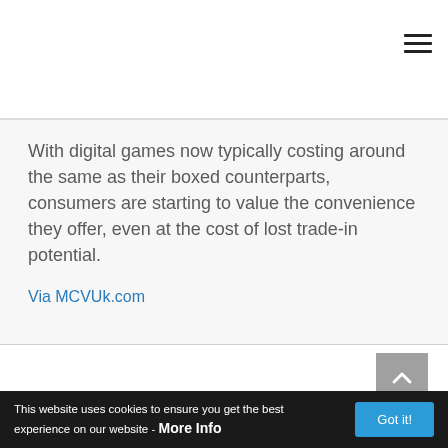With digital games now typically costing around the same as their boxed counterparts, consumers are starting to value the convenience they offer, even at the cost of lost trade-in potential.
Via MCVUk.com
Showcase
This website uses cookies to ensure you get the best experience on our website - More Info